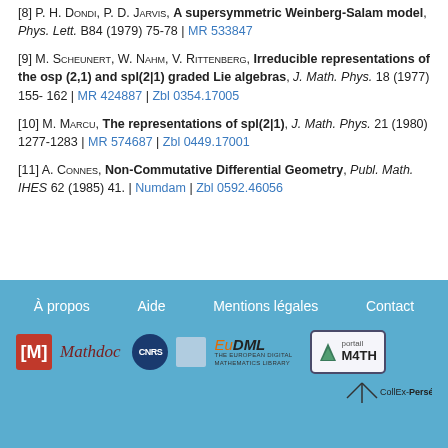[8] P. H. Dondi, P. D. Jarvis, A supersymmetric Weinberg-Salam model, Phys. Lett. B84 (1979) 75-78 | MR 533847
[9] M. Scheunert, W. Nahm, V. Rittenberg, Irreducible representations of the osp (2,1) and spl(2|1) graded Lie algebras, J. Math. Phys. 18 (1977) 155- 162 | MR 424887 | Zbl 0354.17005
[10] M. Marcu, The representations of spl(2|1), J. Math. Phys. 21 (1980) 1277-1283 | MR 574687 | Zbl 0449.17001
[11] A. Connes, Non-Commutative Differential Geometry, Publ. Math. IHES 62 (1985) 41. | Numdam | Zbl 0592.46056
À propos  Aide  Mentions légales  Contact
[Figure (logo): Footer logos: [M] Mathdoc, CNRS, EuDML, portail M4TH, CollEx-Persée]